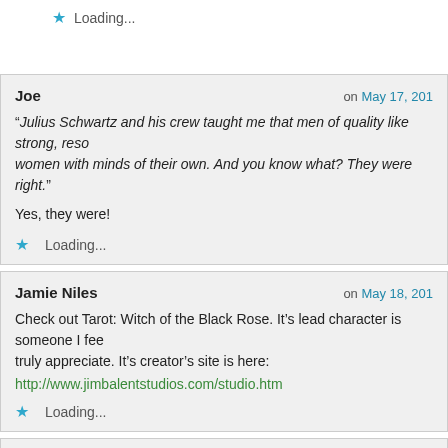Loading...
Joe
on May 17, 201
“Julius Schwartz and his crew taught me that men of quality like strong, resolute women with minds of their own. And you know what? They were right.”
Yes, they were!
Loading...
Jamie Niles
on May 18, 201
Check out Tarot: Witch of the Black Rose. It’s lead character is someone I feel truly appreciate. It’s creator’s site is here:
http://www.jimbalentstudios.com/studio.htm
Loading...
lastmanjournal
on May 18, 201